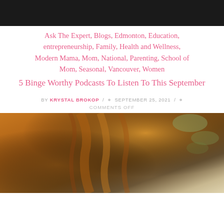[Figure (photo): Top portion of a photo, dark background, appears to be cropped at top of page]
Ask The Expert, Blogs, Edmonton, Education, entrepreneurship, Family, Health and Wellness, Modern Mama, Mom, National, Parenting, School of Mom, Seasonal, Vancouver, Women
5 Binge Worthy Podcasts To Listen To This September
BY KRYSTAL BROKOP / SEPTEMBER 25, 2021 /
COMMENTS OFF
[Figure (photo): Photo of a woman with red/auburn hair, outdoors with foliage in background]